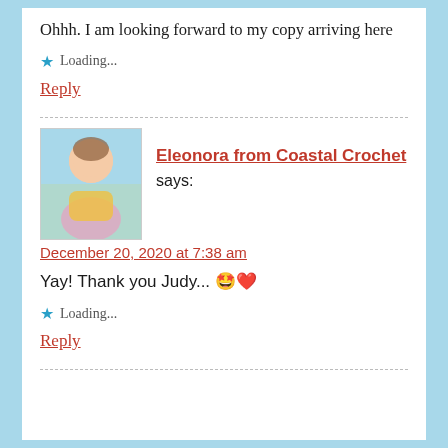Ohhh. I am looking forward to my copy arriving here
★ Loading...
Reply
Eleonora from Coastal Crochet says:
December 20, 2020 at 7:38 am
Yay! Thank you Judy... 🤩❤️
★ Loading...
Reply